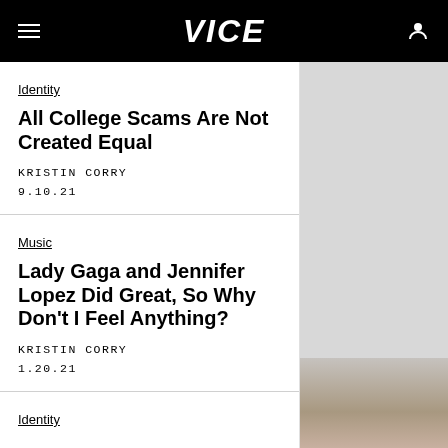VICE
Identity
All College Scams Are Not Created Equal
KRISTIN CORRY
9.10.21
Music
Lady Gaga and Jennifer Lopez Did Great, So Why Don't I Feel Anything?
KRISTIN CORRY
1.20.21
Identity